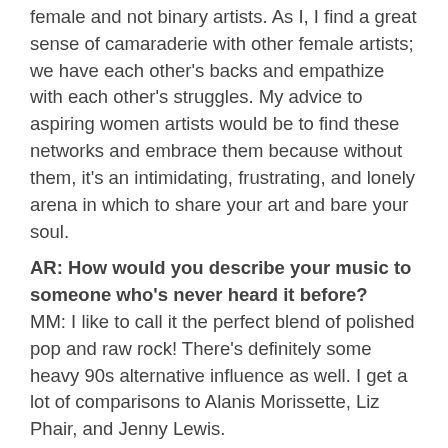female and not binary artists. As I, I find a great sense of camaraderie with other female artists; we have each other's backs and empathize with each other's struggles. My advice to aspiring women artists would be to find these networks and embrace them because without them, it's an intimidating, frustrating, and lonely arena in which to share your art and bare your soul.
AR: How would you describe your music to someone who's never heard it before? MM: I like to call it the perfect blend of polished pop and raw rock! There's definitely some heavy 90s alternative influence as well. I get a lot of comparisons to Alanis Morissette, Liz Phair, and Jenny Lewis.
AR: What artists do you look up to? MM: I am OBSESSED with The Beatles. I saw The Beatles Anthology on TV when I was in 9th grade and it changed my life forever. They are by far and away